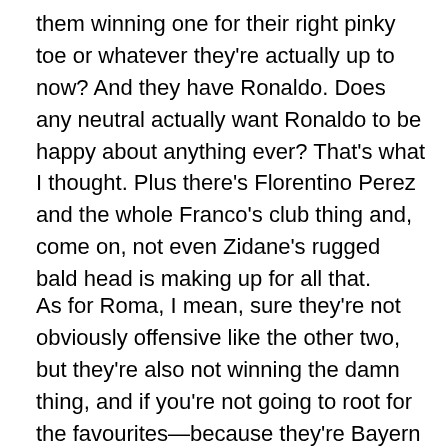them winning one for their right pinky toe or whatever they're actually up to now? And they have Ronaldo. Does any neutral actually want Ronaldo to be happy about anything ever? That's what I thought. Plus there's Florentino Perez and the whole Franco's club thing and, come on, not even Zidane's rugged bald head is making up for all that.
As for Roma, I mean, sure they're not obviously offensive like the other two, but they're also not winning the damn thing, and if you're not going to root for the favourites—because they're Bayern and Madrid and, I mean, come on—you at least want an underdog with a shot. And upset of Barca aside, Roma aren't that—they may have finished first in a group with Atleti and Chelsea but their record against them was two draws and two losses. They got first by beating up on